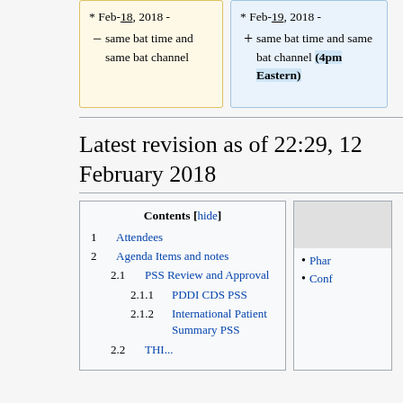Feb-18, 2018 - same bat time and same bat channel
Feb-19, 2018 - same bat time and same bat channel (4pm Eastern)
Latest revision as of 22:29, 12 February 2018
1  Attendees
2  Agenda Items and notes
2.1  PSS Review and Approval
2.1.1  PDDI CDS PSS
2.1.2  International Patient Summary PSS
Phar...
Conf...